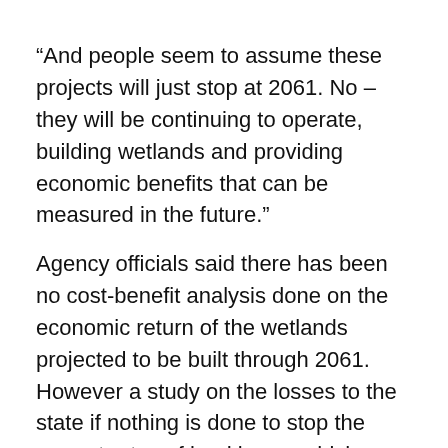“And people seem to assume these projects will just stop at 2061. No – they will be continuing to operate, building wetlands and providing economic benefits that can be measured in the future.”
Agency officials said there has been no cost-benefit analysis done on the economic return of the wetlands projected to be built through 2061. However a study on the losses to the state if nothing is done to stop the current rates of land loss – which would result in the flooding of most of the southern corner of the state by 2060 – showed an economic hit of $133 billion over the next 50